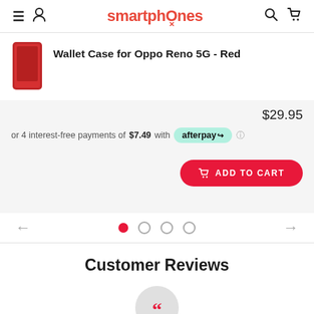smartphones
Wallet Case for Oppo Reno 5G - Red
$29.95
or 4 interest-free payments of $7.49 with afterpay
ADD TO CART
Customer Reviews